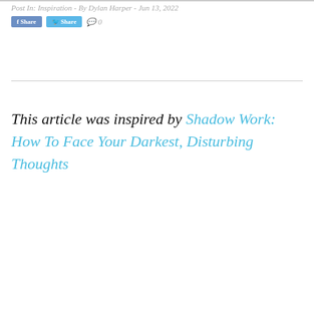Post In: Inspiration - By Dylan Harper - Jun 13, 2022  0
This article was inspired by Shadow Work: How To Face Your Darkest, Disturbing Thoughts